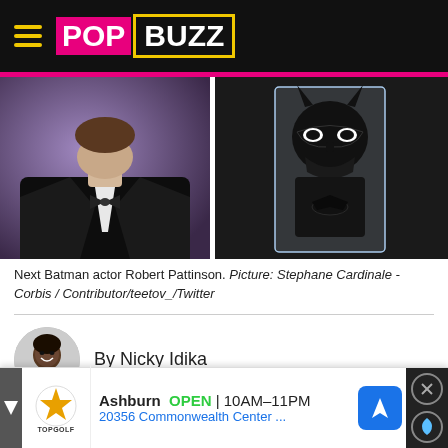POPBUZZ
[Figure (photo): Two-photo collage: left photo shows actor Robert Pattinson in a black tuxedo with bow tie against a purple background; right photo shows a Batman mask/cowl display against a dark background]
Next Batman actor Robert Pattinson. Picture: Stephane Cardinale - Corbis / Contributor/teetov_/Twitter
By Nicky Idika
[Figure (screenshot): Social share buttons: Facebook (blue with f logo) and Twitter (light blue with bird logo)]
[Figure (other): Advertisement banner: Topgolf Ashburn OPEN 10AM-11PM, 20356 Commonwealth Center...]
Rob... an